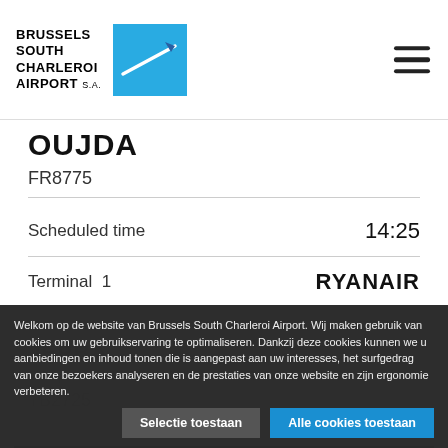BRUSSELS SOUTH CHARLEROI AIRPORT S.A.
OUJDA
FR8775
| Field | Value |
| --- | --- |
| Scheduled time | 14:25 |
| Terminal  1 | RYANAIR |
Welkom op de website van Brussels South Charleroi Airport. Wij maken gebruik van cookies om uw gebruikservaring te optimaliseren. Dankzij deze cookies kunnen we u aanbiedingen en inhoud tonen die is aangepast aan uw interesses, het surfgedrag van onze bezoekers analyseren en de prestaties van onze website en zijn ergonomie verbeteren.